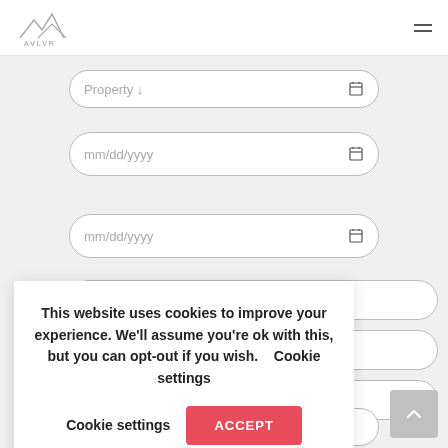AVLVR — navigation header with logo and hamburger menu
[Figure (screenshot): Form field: Property (dropdown, partially visible)]
[Figure (screenshot): Form field: mm/dd/yyyy date input with calendar icon]
[Figure (screenshot): Form field: mm/dd/yyyy date input with calendar icon]
This website uses cookies to improve your experience. We'll assume you're ok with this, but you can opt-out if you wish.   Cookie settings   ACCEPT
[Figure (screenshot): Form field: Ages To* input (partially visible at bottom)]